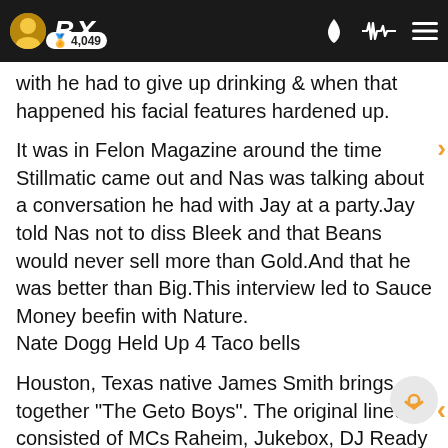BX  4,049
with he had to give up drinking & when that happened his facial features hardened up.
It was in Felon Magazine around the time Stillmatic came out and Nas was talking about a conversation he had with Jay at a party.Jay told Nas not to diss Bleek and that Beans would never sell more than Gold.And that he was better than Big.This interview led to Sauce Money beefin with Nature.
Nate Dogg Held Up 4 Taco bells
Houston, Texas native James Smith brings together "The Geto Boys". The original lineup consisted of MCs Raheim, Jukebox, DJ Ready Red, and Sir Rap-A-Lot. The group also featured Little Billy, a dancing dwarf who later joined full-time as Bushwick Bill. Following a short